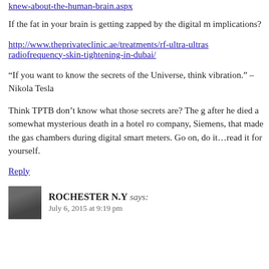knew-about-the-human-brain.aspx
If the fat in your brain is getting zapped by the digital m implications?
http://www.theprivateclinic.ae/treatments/rf-ultra-ultras radiofrequency-skin-tightening-in-dubai/
“If you want to know the secrets of the Universe, think vibration.” – Nikola Tesla
Think TPTB don’t know what those secrets are? The g after he died a somewhat mysterious death in a hotel ro company, Siemens, that made the gas chambers during digital smart meters. Go on, do it…read it for yourself.
Reply
ROCHESTER N.Y says:
July 6, 2015 at 9:19 pm